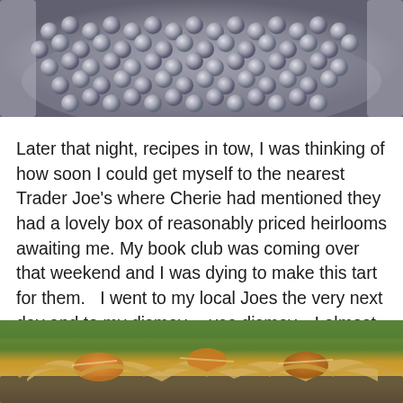[Figure (photo): Photo of small round grey/silver spheres (possibly pie weights or silver sugar balls) on a metallic/foil surface in a pie dish]
Later that night, recipes in tow, I was thinking of how soon I could get myself to the nearest Trader Joe's where Cherie had mentioned they had a lovely box of reasonably priced heirlooms awaiting me. My book club was coming over that weekend and I was dying to make this tart for them.   I went to my local Joes the very next day and to my dismay….yes dismay…I almost teared up…there were no heirlooms to be found.  I called around to three more Joes and finally found myself driving back to La Canada to their Trader Joe's where indeed they were awaiting me.
[Figure (photo): Photo of a baked tart with tomatoes and pastry crust on a dark surface with green background]